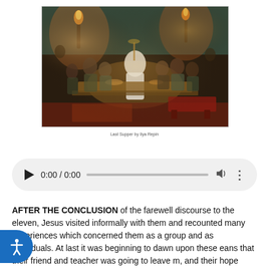[Figure (illustration): Painting of the Last Supper by Ilya Repin, showing Jesus and his disciples at a table in a dimly lit room with torchlight]
Last Supper by Ilya Repin
[Figure (other): Audio player interface showing 0:00 / 0:00 with play button, progress bar, volume icon, and more options]
AFTER THE CONCLUSION of the farewell discourse to the eleven, Jesus visited informally with them and recounted many experiences which concerned them as a group and as individuals. At last it was beginning to dawn upon theseeans that their friend and teacher was going to leave m, and their hope grasped at the promise that, after a little while, he would again be with them, but they were prone to forget that this return visit was also for a little while. Many of